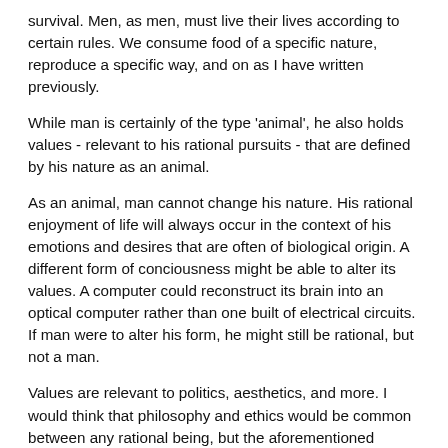survival. Men, as men, must live their lives according to certain rules. We consume food of a specific nature, reproduce a specific way, and on as I have written previously.
While man is certainly of the type 'animal', he also holds values - relevant to his rational pursuits - that are defined by his nature as an animal.
As an animal, man cannot change his nature. His rational enjoyment of life will always occur in the context of his emotions and desires that are often of biological origin. A different form of conciousness might be able to alter its values. A computer could reconstruct its brain into an optical computer rather than one built of electrical circuits. If man were to alter his form, he might still be rational, but not a man.
Values are relevant to politics, aesthetics, and more. I would think that philosophy and ethics would be common between any rational being, but the aforementioned elements not. Politics requires a common set of values - property for instance must be defined according to areas of competition for value. While a society of men and AI might have a combined set of rules, the two societies separate might have very different politics.